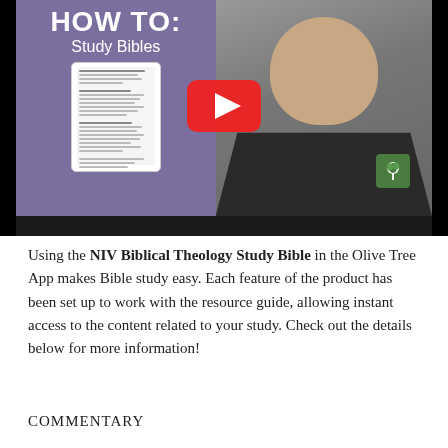[Figure (screenshot): YouTube-style video thumbnail showing a man in a dark henley shirt against a purple background with text 'HOW TO: Study Bibles', a tablet showing Bible text, and a large red YouTube play button in the center. An Olive Tree green logo appears in the bottom-right corner of the video.]
Using the NIV Biblical Theology Study Bible in the Olive Tree App makes Bible study easy. Each feature of the product has been set up to work with the resource guide, allowing instant access to the content related to your study. Check out the details below for more information!
COMMENTARY